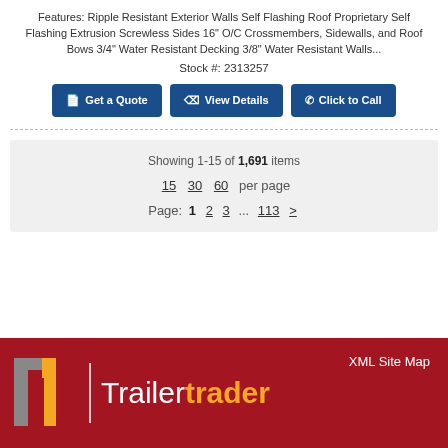Features: Ripple Resistant Exterior Walls Self Flashing Roof Proprietary Self Flashing Extrusion Screwless Sides 16" O/C Crossmembers, Sidewalls, and Roof Bows 3/4" Water Resistant Decking 3/8" Water Resistant Walls...
Stock #: 2313257
Get a Quote
View Details
Click to Call
Showing 1-15 of 1,691 items
15  30  60  per page
Page: 1  2  3  ...  113  >
XML Site Map
[Figure (logo): TrailerTrader logo with stylized T icon in gray and orange, vertical divider, and 'Trailertrader' text with 'trader' in orange, on dark red background]